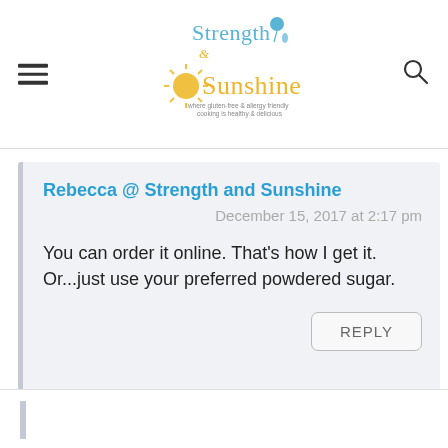Strength & Sunshine — where gluten-free & allergy friendly cooking is healthy & delicious
Rebecca @ Strength and Sunshine
December 15, 2017 at 2:17 pm
You can order it online. That's how I get it. Or...just use your preferred powdered sugar.